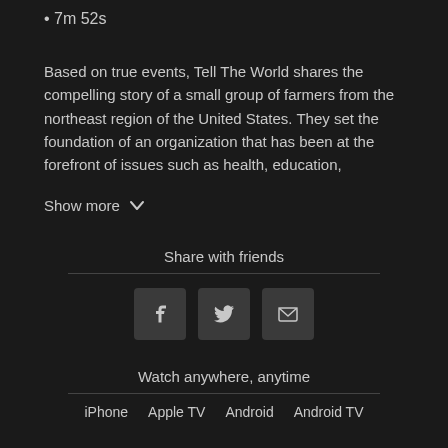• 7m 52s
Based on true events, Tell The World shares the compelling story of a small group of farmers from the northeast region of the United States. They set the foundation of an organization that has been at the forefront of issues such as health, education,
Show more
Share with friends
Watch anywhere, anytime
iPhone
Apple TV
Android
Android TV